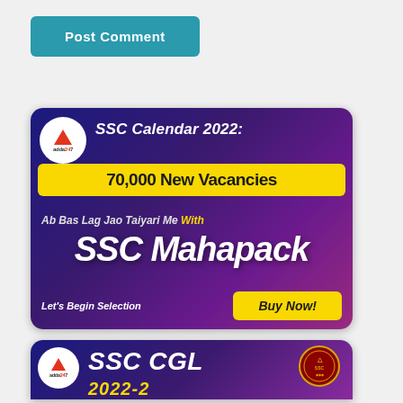[Figure (other): Post Comment button — teal/blue-green rounded rectangle with white bold text 'Post Comment']
[Figure (infographic): Adda247 SSC Calendar 2022 banner: SSC Mahapack advertisement — dark purple-blue gradient background, adda247 logo (white circle with red triangle), title 'SSC Calendar 2022:', yellow bar '70,000 New Vacancies', subtitle 'Ab Bas Lag Jao Taiyari Me With', large text 'SSC Mahapack', 'Let's Begin Selection' and yellow 'Buy Now!' button]
[Figure (infographic): Adda247 SSC CGL 2022 banner — dark purple gradient, adda247 logo, bold italic 'SSC CGL', government emblem, partial year text in yellow below]